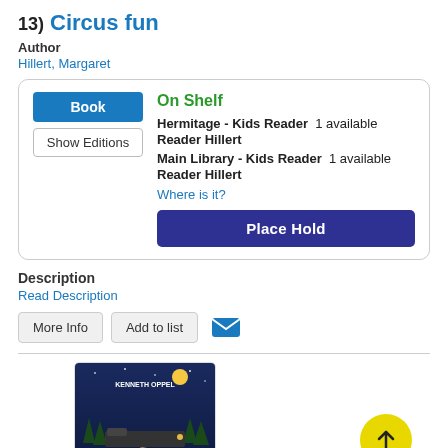13)  Circus fun
Author
Hillert, Margaret
Book | Show Editions | On Shelf
Hermitage - Kids Reader  1 available
Reader Hillert
Main Library - Kids Reader  1 available
Reader Hillert
Where is it?
Place Hold
Description
Read Description
More Info | Add to list
[Figure (illustration): Book cover for 'The Boundless' by Kenneth Oppel, showing a night scene with a train and trees]